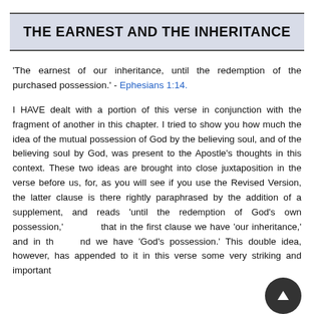THE EARNEST AND THE INHERITANCE
'The earnest of our inheritance, until the redemption of the purchased possession.' - Ephesians 1:14.
I HAVE dealt with a portion of this verse in conjunction with the fragment of another in this chapter. I tried to show you how much the idea of the mutual possession of God by the believing soul, and of the believing soul by God, was present to the Apostle's thoughts in this context. These two ideas are brought into close juxtaposition in the verse before us, for, as you will see if you use the Revised Version, the latter clause is there rightly paraphrased by the addition of a supplement, and reads 'until the redemption of God's own possession,' so that in the first clause we have 'our inheritance,' and in the second we have 'God's possession.' This double idea, however, has appended to it in this verse some very striking and important